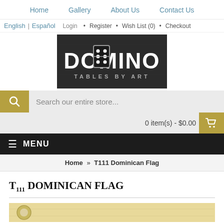Home  Gallery  About Us  Contact Us
English | Español  Login  •  Register  •  Wish List (0)  •  Checkout
[Figure (logo): Domino Tables by Art logo - black and white sign with domino tile replacing the O in DOMINO, text TABLES BY ART below]
Search our entire store...
0 item(s) - $0.00
≡ MENU
Home » T111 Dominican Flag
T111 DOMINICAN FLAG
[Figure (photo): Partial view of a Dominican Flag domino table product - cream/wood colored surface with circular inlays visible]